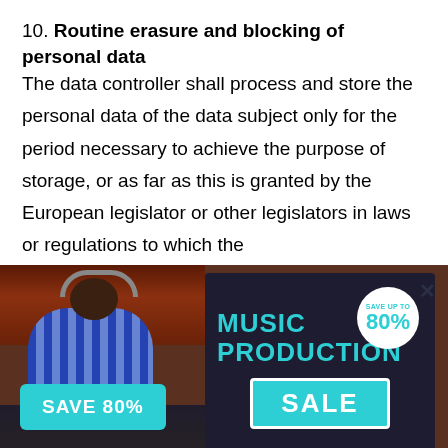10. Routine erasure and blocking of personal data
The data controller shall process and store the personal data of the data subject only for the period necessary to achieve the purpose of storage, or as far as this is granted by the European legislator or other legislators in laws or regulations to which the c...
[Figure (photo): A music production advertisement overlay showing a person in a recording studio at a mixing board. The overlay contains text reading 'MUSIC PRODUCTION SALE' with 'SAVE UP TO 80%' in a circle, and a 'SAVE 80%' button.]